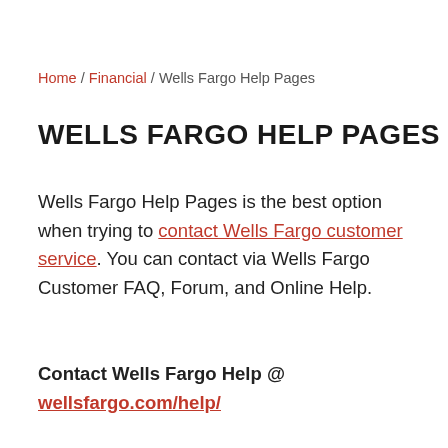Home / Financial / Wells Fargo Help Pages
WELLS FARGO HELP PAGES
Wells Fargo Help Pages is the best option when trying to contact Wells Fargo customer service. You can contact via Wells Fargo Customer FAQ, Forum, and Online Help.
Contact Wells Fargo Help @ wellsfargo.com/help/